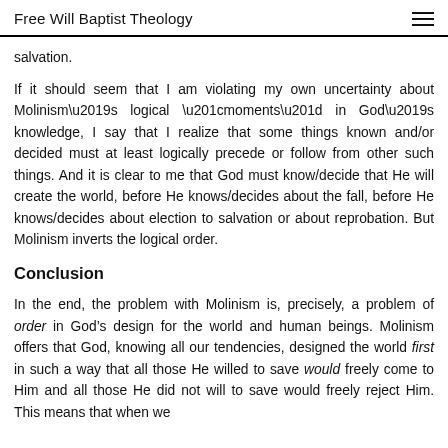Free Will Baptist Theology
salvation.
If it should seem that I am violating my own uncertainty about Molinism’s logical “moments” in God’s knowledge, I say that I realize that some things known and/or decided must at least logically precede or follow from other such things. And it is clear to me that God must know/decide that He will create the world, before He knows/decides about the fall, before He knows/decides about election to salvation or about reprobation. But Molinism inverts the logical order.
Conclusion
In the end, the problem with Molinism is, precisely, a problem of order in God’s design for the world and human beings. Molinism offers that God, knowing all our tendencies, designed the world first in such a way that all those He willed to save would freely come to Him and all those He did not will to save would freely reject Him. This means that when we